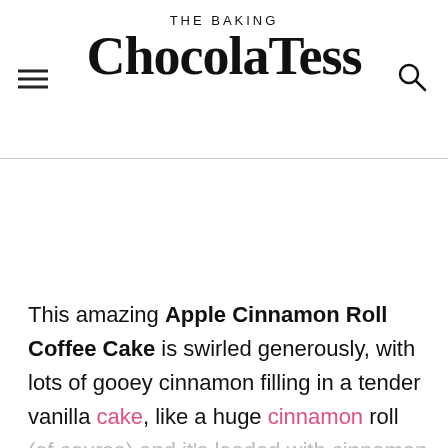THE BAKING ChocolaTess
This amazing Apple Cinnamon Roll Coffee Cake is swirled generously, with lots of gooey cinnamon filling in a tender vanilla cake, like a huge cinnamon roll (of course) and it's loaded with cinnamon apple bits! It's then drizzled